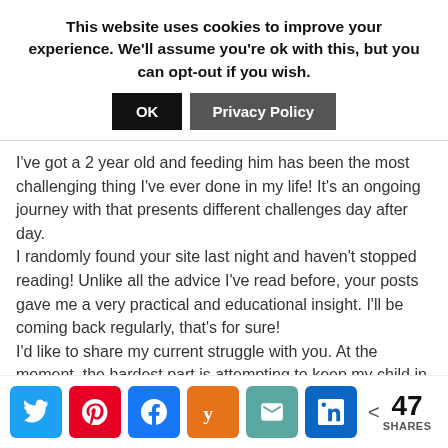This website uses cookies to improve your experience. We'll assume you're ok with this, but you can opt-out if you wish.
OK | Privacy Policy
I've got a 2 year old and feeding him has been the most challenging thing I've ever done in my life! It's an ongoing journey with that presents different challenges day after day.
I randomly found your site last night and haven't stopped reading! Unlike all the advice I've read before, your posts gave me a very practical and educational insight. I'll be coming back regularly, that's for sure!
I'd like to share my current struggle with you. At the moment, the hardest part is attempting to keep my child in a sitting position. He's got one of those"grow with the
[Figure (infographic): Social sharing bar with Twitter, Pinterest, Facebook, Yummly, Email, LinkedIn buttons and share count of 47]